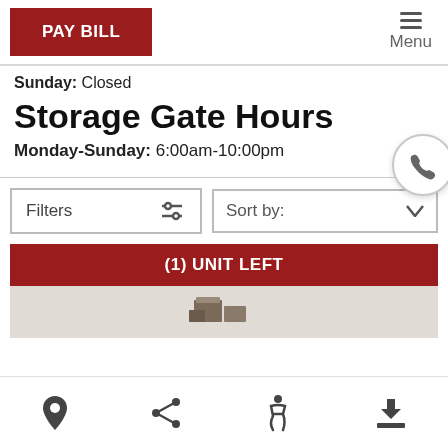PAY BILL | Menu
Sunday: Closed
Storage Gate Hours
Monday-Sunday: 6:00am-10:00pm
Filters | Sort by:
(1) UNIT LEFT
[Figure (photo): Preview image of storage unit]
Navigation icons: location, share, accessibility, download